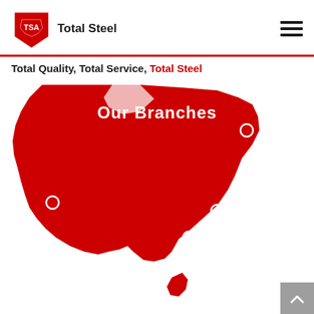[Figure (logo): Total Steel Australia logo with TSA shield emblem and text 'Total Steel']
Total Quality, Total Service, Total Steel
[Figure (map): Red silhouette map of Australia showing branch locations marked with white circles, with heading 'Our Branches']